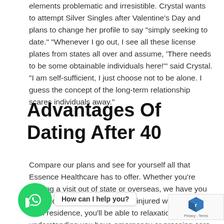elements problematic and irresistible. Crystal wants to attempt Silver Singles after Valentine's Day and plans to change her profile to say "simply seeking to date." "Whenever I go out, I see all these license plates from states all over and assume, 'There needs to be some obtainable individuals here!'" said Crystal. "I am self-sufficient, I just choose not to be alone. I guess the concept of the long-term relationship scares individuals away."
Advantages Of Dating After 40
Compare our plans and see for yourself all that Essence Healthcare has to offer. Whether you're making a visit out of state or overseas, we have you covered. If you ever get sick or injured when away from residence, you'll be able to relaxation forward understanding you have emergency or pressing care protection. Why Choose Essence Healthcare Medicare Advantage Learn about the key variations between Essence